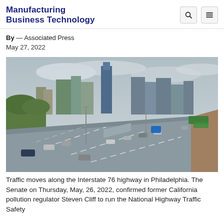Manufacturing Business Technology
By — Associated Press
May 27, 2022
[Figure (photo): Aerial view of traffic moving along Interstate 76 highway in Philadelphia with city skyline in background on a cloudy day]
Traffic moves along the Interstate 76 highway in Philadelphia. The Senate on Thursday, May, 26, 2022, confirmed former California pollution regulator Steven Cliff to run the National Highway Traffic Safety